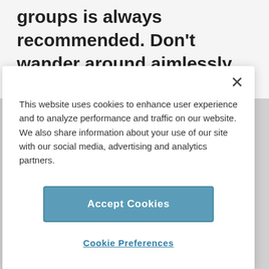groups is always recommended. Don’t wander around aimlessly at night. Instead
This website uses cookies to enhance user experience and to analyze performance and traffic on our website. We also share information about your use of our site with our social media, advertising and analytics partners.
Accept Cookies
Cookie Preferences